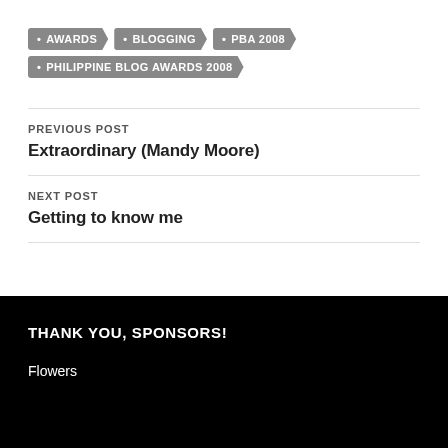AWARDS
BLOGGING
PBA 2008
PHILIPPINE BLOG AWARDS 2008
PREVIOUS POST
Extraordinary (Mandy Moore)
NEXT POST
Getting to know me
THANK YOU, SPONSORS!
Flowers